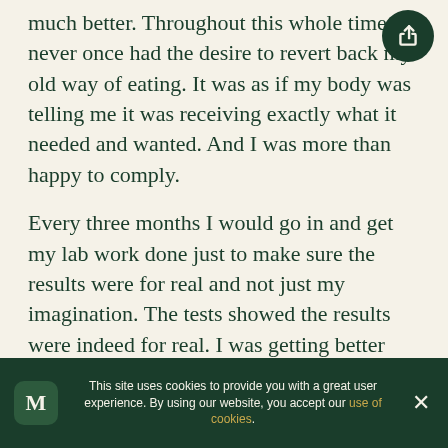much better. Throughout this whole time I never once had the desire to revert back my old way of eating. It was as if my body was telling me it was receiving exactly what it needed and wanted. And I was more than happy to comply.
Every three months I would go in and get my lab work done just to make sure the results were for real and not just my imagination. The tests showed the results were indeed for real. I was getting better and not just a little better, either. My blood lipids that were
This site uses cookies to provide you with a great user experience. By using our website, you accept our use of cookies.